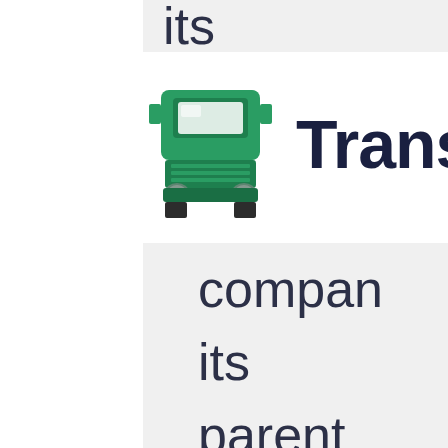its
[Figure (illustration): Green semi-truck / freight truck icon viewed from front, with green cab and white windshield accents]
Transp
compan
its
parent
compa